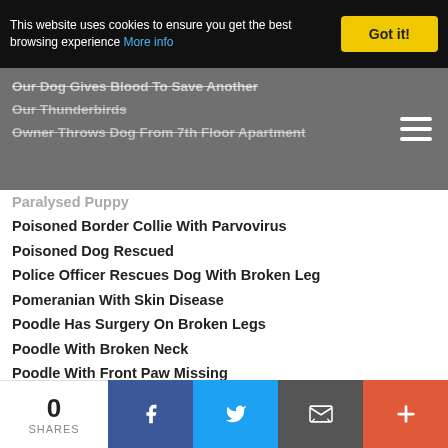This website uses cookies to ensure you get the best browsing experience More info | Got it!
Our Dog Gives Blood To Save Another
Our Thunderbirds
Owner Throws Dog From 7th Floor Apartment
Paralysed Puppy
Poisoned Border Collie With Parvovirus
Poisoned Dog Rescued
Police Officer Rescues Dog With Broken Leg
Pomeranian With Skin Disease
Poodle Has Surgery On Broken Legs
Poodle With Broken Neck
Poodle With Front Paw Missing
Poodle With Neck Injury
Pregnant Dog Beaten By Children!
Pregnant Dog & Newborn Puppy Rescued
Puppies Full Of Fleas
Puppies Go To Kindergarten
Puppies Rescued From Hillside
Puppy Abandoned
Puppy Abandoned At Supermarket
Puppy Abandoned In The Night
Puppy Eating Vomit Rescued
Puppy Hit By Car
Puppy Needed Leg Amputating
0 SHARES | Facebook | Twitter | Email | +